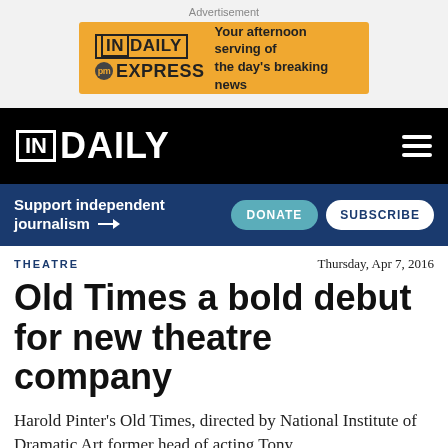Advertisement
[Figure (logo): InDaily PM Express advertisement banner — gold background with InDaily logo and text 'Your afternoon serving of the day's breaking news']
[Figure (logo): InDaily website navigation header — black background with InDaily logo and hamburger menu icon]
[Figure (infographic): Support bar with text 'Support independent journalism' and DONATE and SUBSCRIBE buttons on dark blue background]
THEATRE
Thursday, Apr 7, 2016
Old Times a bold debut for new theatre company
Harold Pinter's Old Times, directed by National Institute of Dramatic Art former head of acting Tony